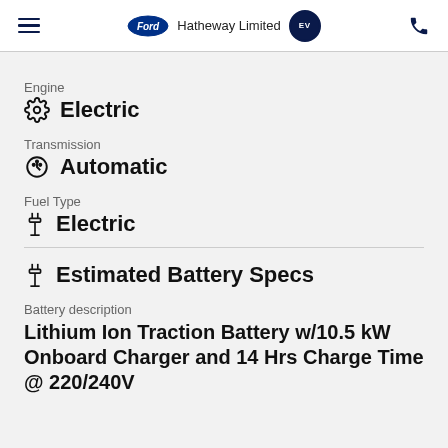Ford Hatheway Limited EV
Engine
Electric
Transmission
Automatic
Fuel Type
Electric
Estimated Battery Specs
Battery description
Lithium Ion Traction Battery w/10.5 kW Onboard Charger and 14 Hrs Charge Time @ 220/240V